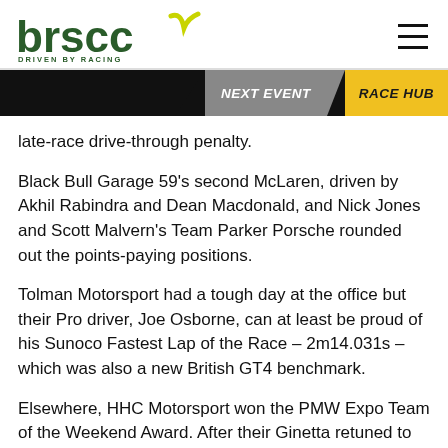brscc DRIVEN BY RACING
late-race drive-through penalty.
Black Bull Garage 59's second McLaren, driven by Akhil Rabindra and Dean Macdonald, and Nick Jones and Scott Malvern's Team Parker Porsche rounded out the points-paying positions.
Tolman Motorsport had a tough day at the office but their Pro driver, Joe Osborne, can at least be proud of his Sunoco Fastest Lap of the Race – 2m14.031s – which was also a new British GT4 benchmark.
Elsewhere, HHC Motorsport won the PMW Expo Team of the Weekend Award. After their Ginetta retuned to the pits on a flatbed truck the squad set about